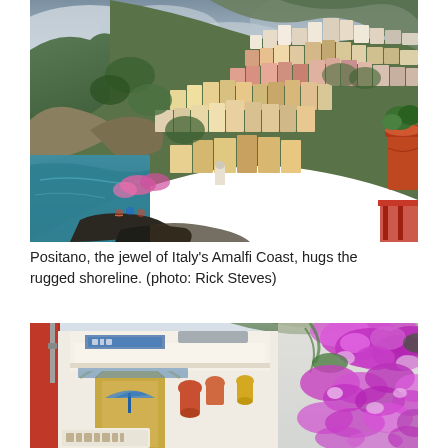[Figure (photo): Aerial/elevated view of Positano, a colorful hillside village on Italy's Amalfi Coast, with pastel-colored buildings clinging to steep green cliffs above a turquoise sea. A large terracotta pot with plants is visible in the foreground right. Overcast sky with dramatic clouds above green mountains.]
Positano, the jewel of Italy's Amalfi Coast, hugs the rugged shoreline. (photo: Rick Steves)
[Figure (photo): Street-level view of Positano shops and buildings with white arched facades, colorful signs including 'Absolute' and 'Positano', decorative pottery, blue umbrellas, and vibrant pink/purple bougainvillea flowers hanging from above on the right side.]